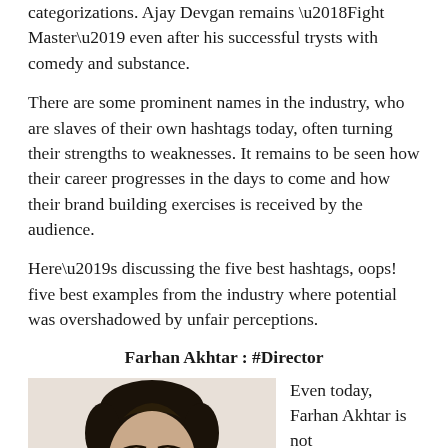categorizations. Ajay Devgan remains ‘Fight Master’ even after his successful trysts with comedy and substance.
There are some prominent names in the industry, who are slaves of their own hashtags today, often turning their strengths to weaknesses. It remains to be seen how their career progresses in the days to come and how their brand building exercises is received by the audience.
Here’s discussing the five best hashtags, oops! five best examples from the industry where potential was overshadowed by unfair perceptions.
Farhan Akhtar : #Director
[Figure (photo): Photo of Farhan Akhtar, a man with dark hair, against a light background, showing face and upper body.]
Even today, Farhan Akhtar is not